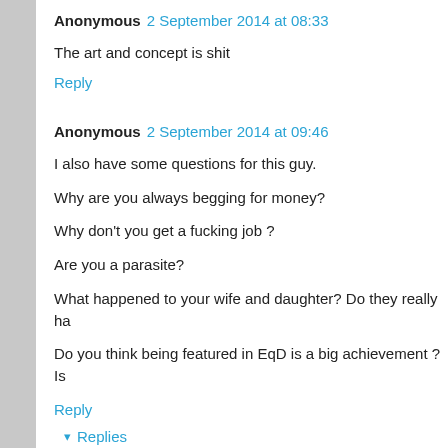Anonymous  2 September 2014 at 08:33
The art and concept is shit
Reply
Anonymous  2 September 2014 at 09:46
I also have some questions for this guy.

Why are you always begging for money?

Why don't you get a fucking job ?

Are you a parasite?

What happened to your wife and daughter? Do they really ha

Do you think being featured in EqD is a big achievement ? Is
Reply
▾ Replies